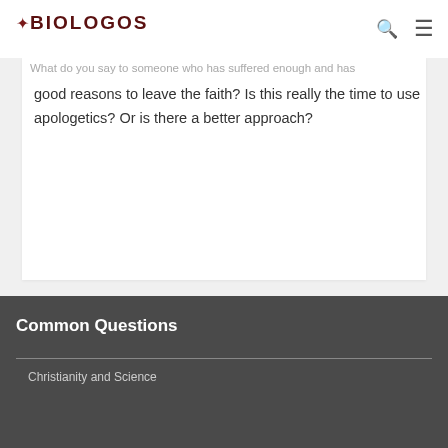BioLogos
Three Tips from a Pastor to Care for Those ...
What do you say to someone who has suffered enough and has good reasons to leave the faith? Is this really the time to use apologetics? Or is there a better approach?
Common Questions
Christianity and Science